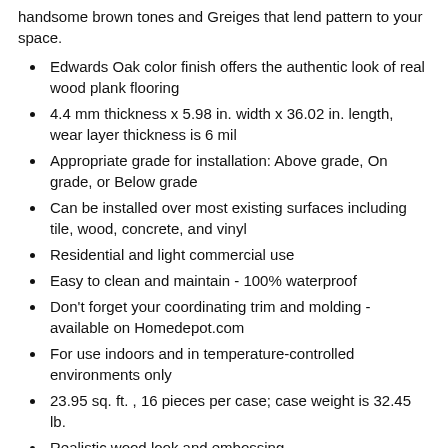handsome brown tones and Greiges that lend pattern to your space.
Edwards Oak color finish offers the authentic look of real wood plank flooring
4.4 mm thickness x 5.98 in. width x 36.02 in. length, wear layer thickness is 6 mil
Appropriate grade for installation: Above grade, On grade, or Below grade
Can be installed over most existing surfaces including tile, wood, concrete, and vinyl
Residential and light commercial use
Easy to clean and maintain - 100% waterproof
Don't forget your coordinating trim and molding - available on Homedepot.com
For use indoors and in temperature-controlled environments only
23.95 sq. ft. , 16 pieces per case; case weight is 32.45 lb.
Realistic wood look and embossing